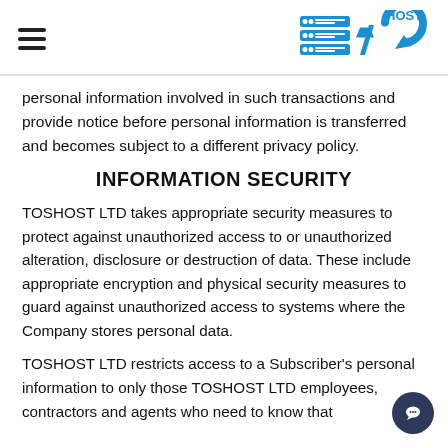[hamburger menu] [TOSHOST logo]
personal information involved in such transactions and provide notice before personal information is transferred and becomes subject to a different privacy policy.
INFORMATION SECURITY
TOSHOST LTD takes appropriate security measures to protect against unauthorized access to or unauthorized alteration, disclosure or destruction of data. These include appropriate encryption and physical security measures to guard against unauthorized access to systems where the Company stores personal data.
TOSHOST LTD restricts access to a Subscriber's personal information to only those TOSHOST LTD employees, contractors and agents who need to know that